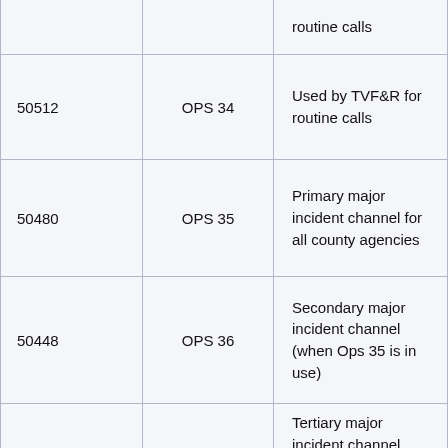|  |  |  |
| --- | --- | --- |
|  |  | routine calls |
| 50512 | OPS 34 | Used by TVF&R for routine calls |
| 50480 | OPS 35 | Primary major incident channel for all county agencies |
| 50448 | OPS 36 | Secondary major incident channel (when Ops 35 is in use) |
|  |  | Tertiary major incident channel (when Ops 35 and 36 are in use); currently used as needed  as a cross-patch to law enforcement talkgroups |